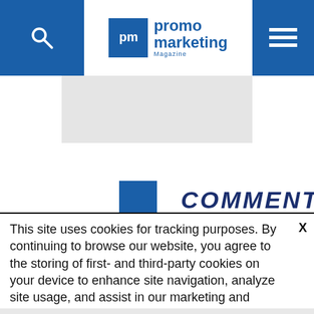promo marketing Magazine
[Figure (other): Gray advertisement/content placeholder box]
COMMENTS
Comments   Community   🔒
This site uses cookies for tracking purposes. By continuing to browse our website, you agree to the storing of first- and third-party cookies on your device to enhance site navigation, analyze site usage, and assist in our marketing and
Accept and Close ✕
Your browser settings do not allow cross-site tracking for advertising. Click on this page to allow AdRoll to use cross-site tracking to tailor ads to you. Learn more or opt out of this AdRoll tracking by clicking here. This message only appears once.